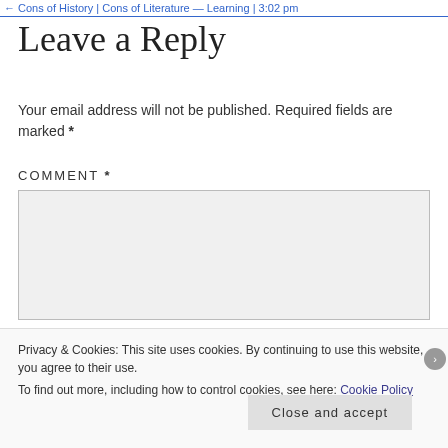← Cons of History | Cons of Literature — Learning | 3:02 pm
Leave a Reply
Your email address will not be published. Required fields are marked *
COMMENT *
Privacy & Cookies: This site uses cookies. By continuing to use this website, you agree to their use.
To find out more, including how to control cookies, see here: Cookie Policy
Close and accept